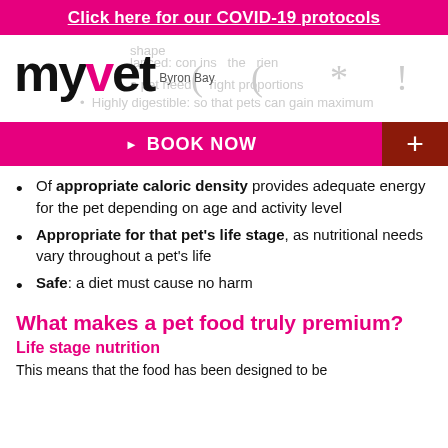Click here for our COVID-19 protocols
[Figure (logo): myvet Byron Bay logo with pink V and plus sign]
Of appropriate caloric density provides adequate energy for the pet depending on age and activity level
Appropriate for that pet's life stage, as nutritional needs vary throughout a pet's life
Safe: a diet must cause no harm
What makes a pet food truly premium?
Life stage nutrition
This means that the food has been designed to be